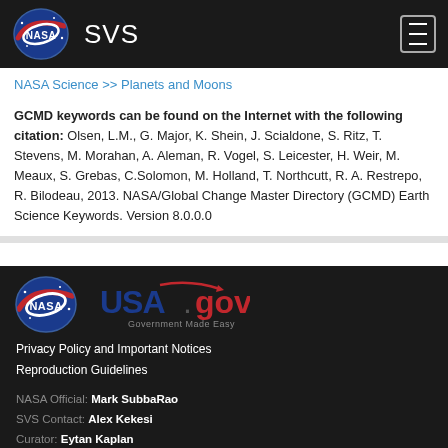NASA SVS
NASA Science >> Planets and Moons
GCMD keywords can be found on the Internet with the following citation: Olsen, L.M., G. Major, K. Shein, J. Scialdone, S. Ritz, T. Stevens, M. Morahan, A. Aleman, R. Vogel, S. Leicester, H. Weir, M. Meaux, S. Grebas, C.Solomon, M. Holland, T. Northcutt, R. A. Restrepo, R. Bilodeau, 2013. NASA/Global Change Master Directory (GCMD) Earth Science Keywords. Version 8.0.0.0
Privacy Policy and Important Notices
Reproduction Guidelines
NASA Official: Mark SubbaRao
SVS Contact: Alex Kekesi
Curator: Eytan Kaplan